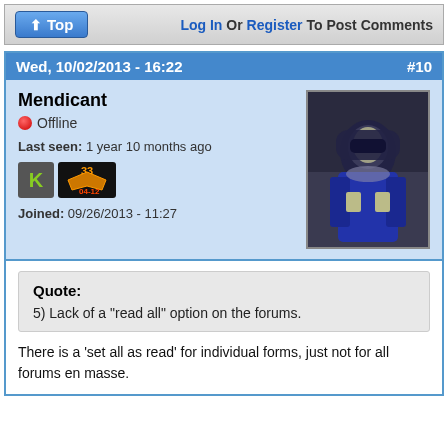Top | Log In Or Register To Post Comments
Wed, 10/02/2013 - 16:22  #10
Mendicant
Offline
Last seen: 1 year 10 months ago
Joined: 09/26/2013 - 11:27
[Figure (photo): Avatar image of user Mendicant showing a character in a dark blue hooded outfit with armor]
Quote:
5) Lack of a "read all" option on the forums.

There is a 'set all as read' for individual forms, just not for all forums en masse.